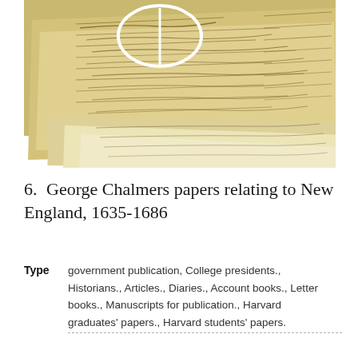[Figure (photo): A photograph of overlapping historical manuscript pages written in cursive handwriting, with a white circle marking visible in the upper portion. The pages appear aged and yellowed with brown ink script.]
6. George Chalmers papers relating to New England, 1635-1686
Type  government publication, College presidents., Historians., Articles., Diaries., Account books., Letter books., Manuscripts for publication., Harvard graduates' papers., Harvard students' papers.